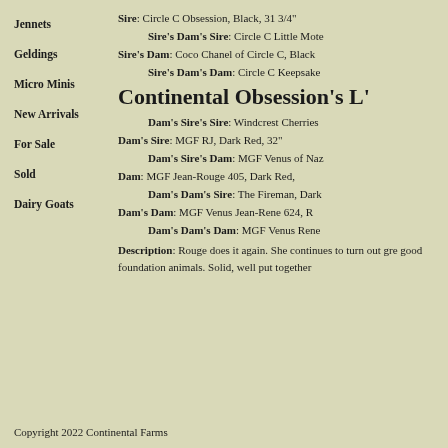Jennets
Geldings
Micro Minis
New Arrivals
For Sale
Sold
Dairy Goats
Sire: Circle C Obsession, Black, 31 3/4"
Sire's Dam's Sire: Circle C Little Mote
Sire's Dam: Coco Chanel of Circle C, Black
Sire's Dam's Dam: Circle C Keepsake
Continental Obsession's L'
Dam's Sire's Sire: Windcrest Cherries
Dam's Sire: MGF RJ, Dark Red, 32".
Dam's Sire's Dam: MGF Venus of Naz
Dam: MGF Jean-Rouge 405, Dark Red,
Dam's Dam's Sire: The Fireman, Dark
Dam's Dam: MGF Venus Jean-Rene 624, R
Dam's Dam's Dam: MGF Venus Rene
Description: Rouge does it again. She continues to turn out gre good foundation animals. Solid, well put together
Copyright 2022 Continental Farms